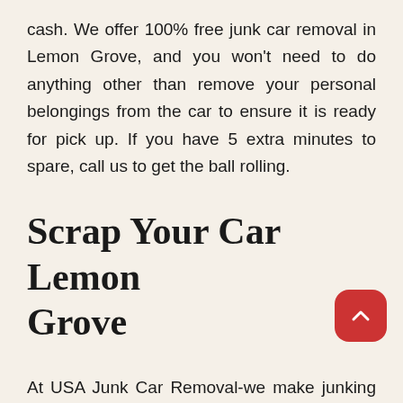cash. We offer 100% free junk car removal in Lemon Grove, and you won't need to do anything other than remove your personal belongings from the car to ensure it is ready for pick up. If you have 5 extra minutes to spare, call us to get the ball rolling.
Scrap Your Car Lemon Grove
At USA Junk Car Removal-we make junking your car in Lemon Grove easier than ever. Not only will we remove your car, but we will pay you a competitive price for it too.We can junk your car today-or any other truck or van you are looking to offload. Even if your vehicle: